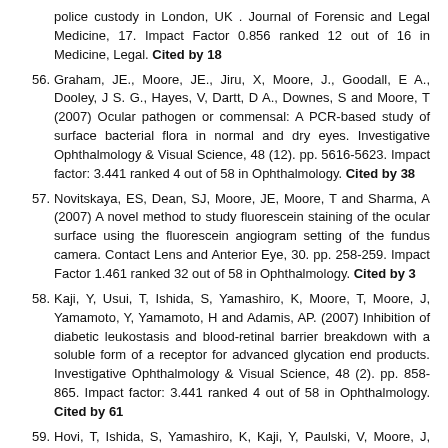police custody in London, UK . Journal of Forensic and Legal Medicine, 17. Impact Factor 0.856 ranked 12 out of 16 in Medicine, Legal. Cited by 18
56. Graham, JE., Moore, JE., Jiru, X, Moore, J., Goodall, E A., Dooley, J S. G., Hayes, V, Dartt, D A., Downes, S and Moore, T (2007) Ocular pathogen or commensal: A PCR-based study of surface bacterial flora in normal and dry eyes. Investigative Ophthalmology & Visual Science, 48 (12). pp. 5616-5623. Impact factor: 3.441 ranked 4 out of 58 in Ophthalmology. Cited by 38
57. Novitskaya, ES, Dean, SJ, Moore, JE, Moore, T and Sharma, A (2007) A novel method to study fluorescein staining of the ocular surface using the fluorescein angiogram setting of the fundus camera. Contact Lens and Anterior Eye, 30. pp. 258-259. Impact Factor 1.461 ranked 32 out of 58 in Ophthalmology. Cited by 3
58. Kaji, Y, Usui, T, Ishida, S, Yamashiro, K, Moore, T, Moore, J, Yamamoto, Y, Yamamoto, H and Adamis, AP. (2007) Inhibition of diabetic leukostasis and blood-retinal barrier breakdown with a soluble form of a receptor for advanced glycation end products. Investigative Ophthalmology & Visual Science, 48 (2). pp. 858-865. Impact factor: 3.441 ranked 4 out of 58 in Ophthalmology. Cited by 61
59. Hovi, T, Ishida, S, Yamashiro, K, Kaji, Y, Paulski, V, Moore, J, Moor...